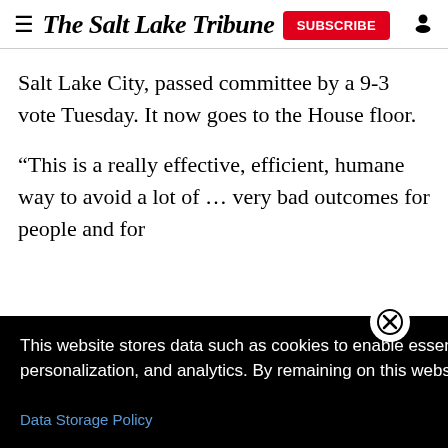The Salt Lake Tribune
Salt Lake City, passed committee by a 9-3 vote Tuesday. It now goes to the House floor.
“This is a really effective, efficient, humane way to avoid a lot of … very bad outcomes for people and for
“Because we [them. We] amilies when do so.”
This website stores data such as cookies to enable essential site functionality, as well as marketing, personalization, and analytics. By remaining on this website you indicate your consent.
Data Storage Policy